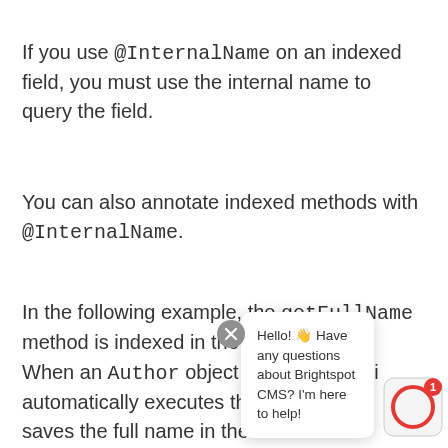If you use @InternalName on an indexed field, you must use the internal name to query the field.
You can also annotate indexed methods with @InternalName.
In the following example, the getFullName method is indexed in the Author class. When an Author object is created, Dari automatically executes the method and saves the full name in the database.
[Figure (screenshot): Chat widget popup: close button (X in grey circle), speech bubble saying 'Hello! 👋 Have any questions about Brightspot CMS? I'm here to help!', and a red-outlined circle icon with a red badge showing '1'.]